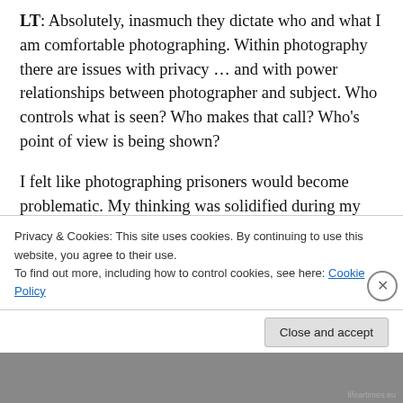LT: Absolutely, inasmuch they dictate who and what I am comfortable photographing. Within photography there are issues with privacy … and with power relationships between photographer and subject. Who controls what is seen? Who makes that call? Who's point of view is being shown?
I felt like photographing prisoners would become problematic. My thinking was solidified during my first tour of a jail — seeing the complete lack of privacy for a prisoner was astounding. Twice every hour, an officer goes
Privacy & Cookies: This site uses cookies. By continuing to use this website, you agree to their use.
To find out more, including how to control cookies, see here: Cookie Policy